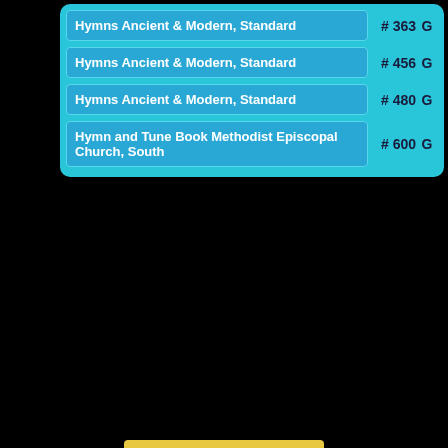| Hymnal | Number | Key |
| --- | --- | --- |
| Hymns Ancient & Modern, Standard | # 363 | G |
| Hymns Ancient & Modern, Standard | # 456 | G |
| Hymns Ancient & Modern, Standard | # 480 | G |
| Hymn and Tune Book Methodist Episcopal Church, South | # 600 | G |